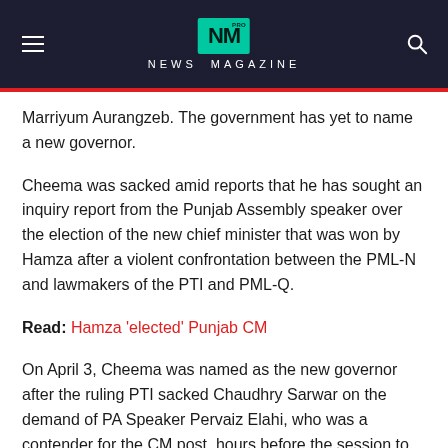NEWS MAGAZINE
Marriyum Aurangzeb. The government has yet to name a new governor.
Cheema was sacked amid reports that he has sought an inquiry report from the Punjab Assembly speaker over the election of the new chief minister that was won by Hamza after a violent confrontation between the PML-N and lawmakers of the PTI and PML-Q.
Read: Hamza 'elected' Punjab CM
On April 3, Cheema was named as the new governor after the ruling PTI sacked Chaudhry Sarwar on the demand of PA Speaker Pervaiz Elahi, who was a contender for the CM post, hours before the session to elect the chief minister.